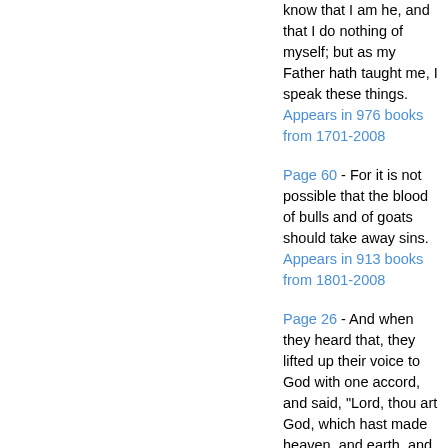know that I am he, and that I do nothing of myself; but as my Father hath taught me, I speak these things.
Appears in 976 books from 1701-2008
Page 60 - For it is not possible that the blood of bulls and of goats should take away sins.
Appears in 913 books from 1801-2008
Page 26 - And when they heard that, they lifted up their voice to God with one accord, and said, "Lord, thou art God, which hast made heaven, and earth, and the sea, and all that in